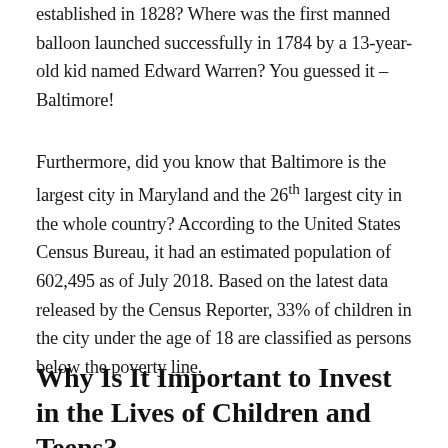established in 1828? Where was the first manned balloon launched successfully in 1784 by a 13-year-old kid named Edward Warren? You guessed it – Baltimore!
Furthermore, did you know that Baltimore is the largest city in Maryland and the 26th largest city in the whole country? According to the United States Census Bureau, it had an estimated population of 602,495 as of July 2018. Based on the latest data released by the Census Reporter, 33% of children in the city under the age of 18 are classified as persons below the poverty line.
Why Is It Important to Invest in the Lives of Children and Teens?